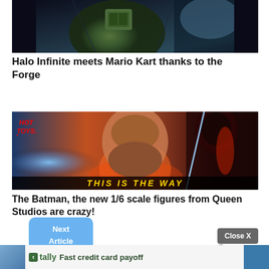[Figure (screenshot): Screenshot from Halo Infinite game showing Master Chief figure in dark sci-fi cockpit/spaceship interior with green armored character]
Halo Infinite meets Mario Kart thanks to the Forge
[Figure (screenshot): Hot Toys promotional image showing Obi-Wan Kenobi and Darth Vader figures with text THIS IS THE WAY at bottom]
The Batman, the new 1/6 scale figures from Queen Studios are crazy!
Next Article
Close X
Download Now →
Fast credit card payoff